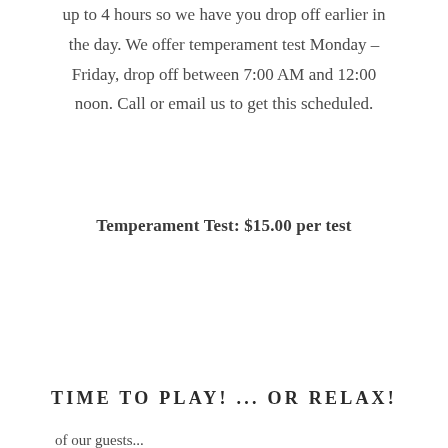up to 4 hours so we have you drop off earlier in the day. We offer temperament test Monday – Friday, drop off between 7:00 AM and 12:00 noon. Call or email us to get this scheduled.
Temperament Test: $15.00 per test
TIME TO PLAY! ... OR RELAX!
of our guests...